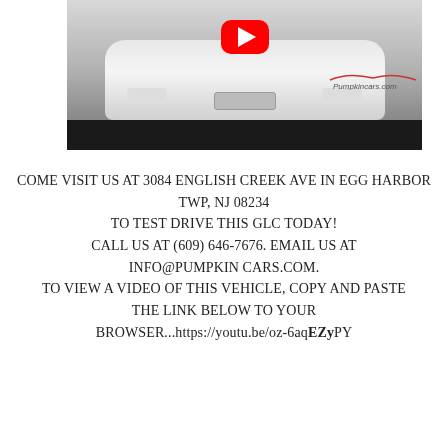[Figure (screenshot): YouTube video thumbnail showing the front of a white Mercedes-Benz GLC with a YouTube play button overlay. Pumpkincars.com logo visible in lower right corner. Black bar at bottom of video player.]
COME VISIT US AT 3084 ENGLISH CREEK AVE IN EGG HARBOR TWP, NJ 08234 TO TEST DRIVE THIS GLC TODAY! CALL US AT (609) 646-7676. EMAIL US AT INFO@PUMPKIN CARS.COM. TO VIEW A VIDEO OF THIS VEHICLE, COPY AND PASTE THE LINK BELOW TO YOUR BROWSER...https://youtu.be/oz-6aqEZyPY